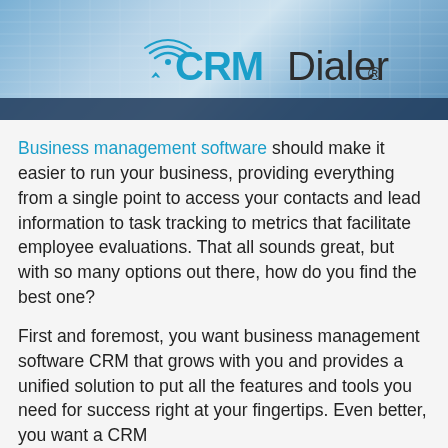[Figure (logo): CRMDialer logo on a blue grid/office background image header]
Business management software should make it easier to run your business, providing everything from a single point to access your contacts and lead information to task tracking to metrics that facilitate employee evaluations. That all sounds great, but with so many options out there, how do you find the best one?
First and foremost, you want business management software CRM that grows with you and provides a unified solution to put all the features and tools you need for success right at your fingertips. Even better, you want a CRM